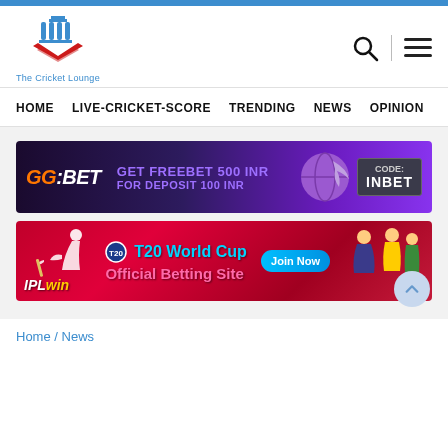[Figure (logo): The Cricket Lounge logo with stylized cricket stumps and blue chevron mark, with text 'The Cricket Lounge' below]
HOME   LIVE-CRICKET-SCORE   TRENDING   NEWS   OPINION
[Figure (infographic): GGBET advertisement banner: GET FREEBET 500 INR FOR DEPOSIT 100 INR, CODE: INBET]
[Figure (infographic): IPLwin advertisement banner: T20 World Cup Official Betting Site, Join Now]
Home / News